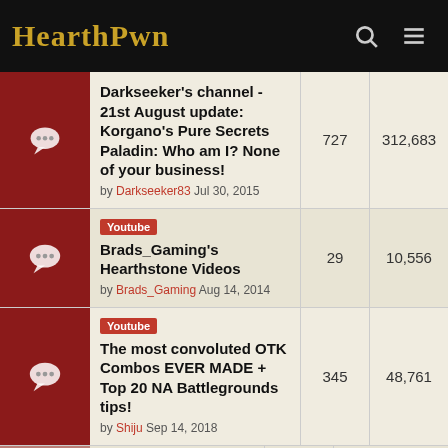Hearthpwn
Darkseeker's channel - 21st August update: Korgano's Pure Secrets Paladin: Who am I? None of your business! by Darkseeker83 Jul 30, 2015 | 727 | 312,683
Youtube | Brads_Gaming's Hearthstone Videos by Brads_Gaming Aug 14, 2014 | 29 | 10,556
Youtube | The most convoluted OTK Combos EVER MADE + Top 20 NA Battlegrounds tips! by Shiju Sep 14, 2018 | 345 | 48,761
Road to Legend: I got 99 problems but getting to Legend ain't one by Nari23 Aug 13, 2022 | 1 | 537